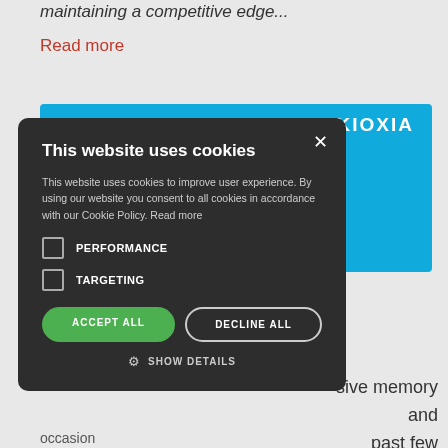maintaining a competitive edge...
Read more
[Figure (screenshot): Blue KIOXIA branded card with photo of industrial/lab setting]
[Figure (screenshot): Cookie consent modal dialog with dark background. Title: 'This website uses cookies'. Body text about cookie policy. Checkboxes for PERFORMANCE and TARGETING. Buttons: ACCEPT ALL, DECLINE ALL, SHOW DETAILS.]
sive memory and past few
occasion